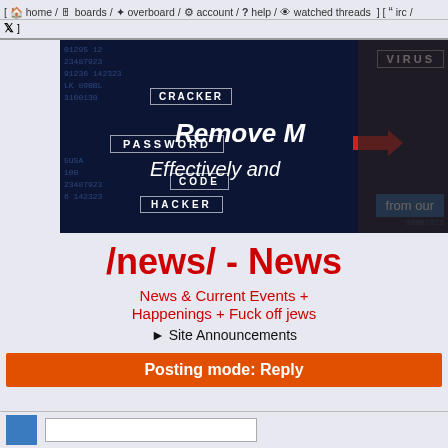[ home / boards / overboard / account / ? help / watched threads ] [ 99 irc / twitter ]
[Figure (photo): Cybersecurity themed banner image with dark blue background showing hacker with text overlays: VIRUS, CRACKER, PASSWORD, CODE, HACKER, 'Remove M', 'Effectively and', 'from our', red arrow, and various number strings]
/news/ - News
News & Current Events + Happenings + Fuck off jews
▶ Site Announcements
Posting mode: Reply